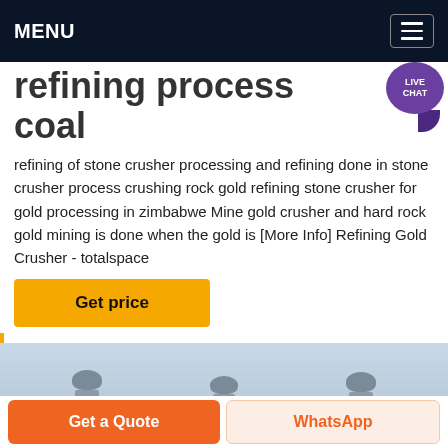MENU
refining process coal
refining of stone crusher processing and refining done in stone crusher process crushing rock gold refining stone crusher for gold processing in zimbabwe Mine gold crusher and hard rock gold mining is done when the gold is [More Info] Refining Gold Crusher - totalspace
Get price
[Figure (photo): Industrial bolts or drill bits photographed against a light blue sky background]
Get a Quote
WhatsApp